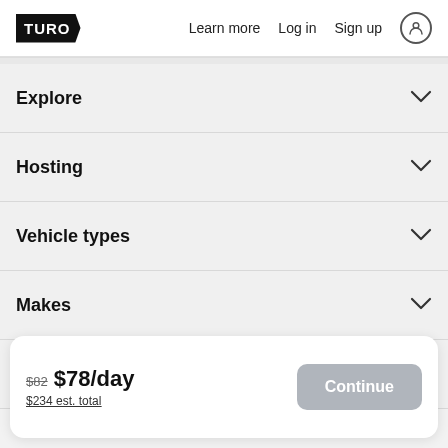TURO  Learn more  Log in  Sign up
Explore
Hosting
Vehicle types
Makes
Top cities
$82 $78/day  $234 est. total  Continue